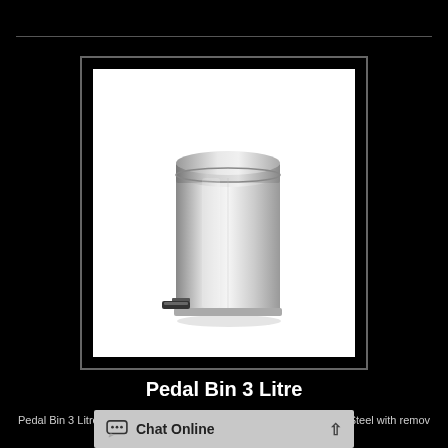[Figure (photo): Polished stainless steel pedal bin, 3 litre capacity, cylindrical shape with rounded lid and foot pedal at bottom]
Pedal Bin 3 Litre
Pedal Bin 3 Litre W165 H260 D190mm Material: Polished Stainless Steel with remov... DELIVERY ...
Chat Online